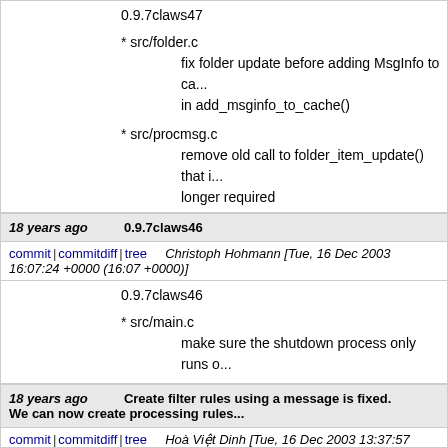0.9.7claws47
* src/folder.c
    fix folder update before adding MsgInfo to ca...
    in add_msginfo_to_cache()
* src/procmsg.c
    remove old call to folder_item_update() that i...
    longer required
18 years ago   0.9.7claws46
commit | commitdiff | tree   Christoph Hohmann [Tue, 16 Dec 2003 16:07:24 +0000 (16:07 +0000)]
0.9.7claws46
* src/main.c
    make sure the shutdown process only runs o...
18 years ago   Create filter rules using a message is fixed. We can now create processing rules...
commit | commitdiff | tree   Hoà Việt Dinh [Tue, 16 Dec 2003 13:37:57 +0000 (13:37 +0000)]
Create filter rules using a message is fixed. We ca...